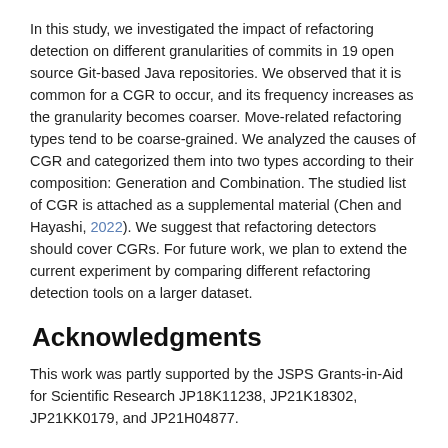In this study, we investigated the impact of refactoring detection on different granularities of commits in 19 open source Git-based Java repositories. We observed that it is common for a CGR to occur, and its frequency increases as the granularity becomes coarser. Move-related refactoring types tend to be coarse-grained. We analyzed the causes of CGR and categorized them into two types according to their composition: Generation and Combination. The studied list of CGR is attached as a supplemental material (Chen and Hayashi, 2022). We suggest that refactoring detectors should cover CGRs. For future work, we plan to extend the current experiment by comparing different refactoring detection tools on a larger dataset.
Acknowledgments
This work was partly supported by the JSPS Grants-in-Aid for Scientific Research JP18K11238, JP21K18302, JP21KK0179, and JP21H04877.
References